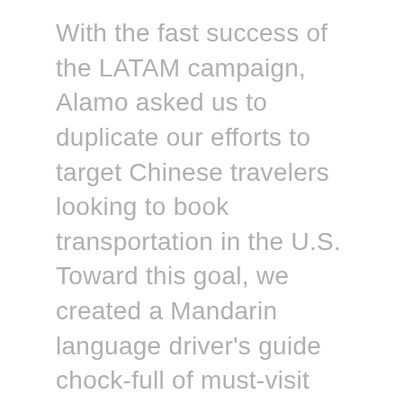With the fast success of the LATAM campaign, Alamo asked us to duplicate our efforts to target Chinese travelers looking to book transportation in the U.S. Toward this goal, we created a Mandarin language driver's guide chock-full of must-visit destinations throughout the country along with enticing offers and discounts.